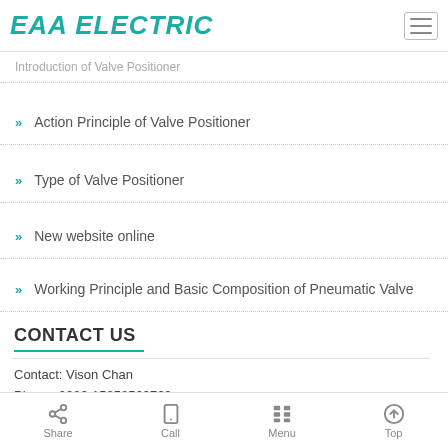EAA ELECTRIC
Introduction of Valve Positioner
Action Principle of Valve Positioner
Type of Valve Positioner
New website online
Working Principle and Basic Composition of Pneumatic Valve
CONTACT US
Contact: Vison Chan
Phone: 0086-15858563760
Tel: 0086-577-65165096
Share  Call  Menu  Top